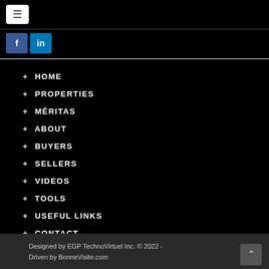[Figure (screenshot): Navigation menu button (hamburger icon) on black background header bar]
[Figure (screenshot): Social media icons: Facebook (f) and LinkedIn (in) on black background]
+ HOME
+ PROPERTIES
+ MÉRITAS
+ ABOUT
+ BUYERS
+ SELLERS
+ VIDEOS
+ TOOLS
+ USEFUL LINKS
+ CONTACT
Designed by EGP TechnoVirtuel Inc. © 2022 - Driven by BonneVisite.com